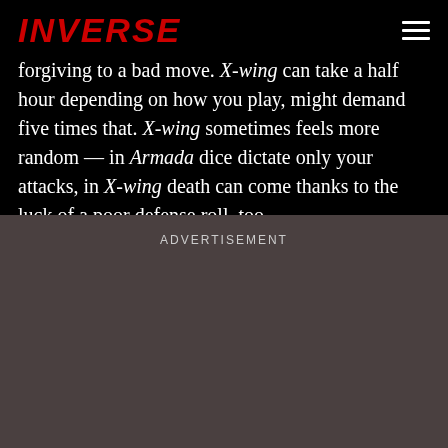INVERSE
forgiving to a bad move. X-wing can take a half hour depending on how you play, might demand five times that. X-wing sometimes feels more random — in Armada dice dictate only your attacks, in X-wing death can come thanks to the luck of a poor defense roll, too.
ADVERTISEMENT